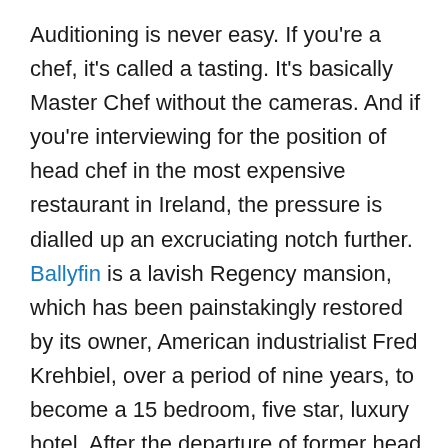Auditioning is never easy. If you're a chef, it's called a tasting. It's basically Master Chef without the cameras. And if you're interviewing for the position of head chef in the most expensive restaurant in Ireland, the pressure is dialled up an excruciating notch further. Ballyfin is a lavish Regency mansion, which has been painstakingly restored by its owner, American industrialist Fred Krehbiel, over a period of nine years, to become a 15 bedroom, five star, luxury hotel. After the departure of former head chef Fred Cordonnier for the sunnier climes of Dubai, the hunt was on to find a chef who could provide food to match the exquisite surroundings. The restaurant is exclusively for guests, many from Ireland celebrating a special occasion, some touring the luxury hotspots of Europe, but all paying for the privilege of 24 hours of luxury, which runs €800 for two people.